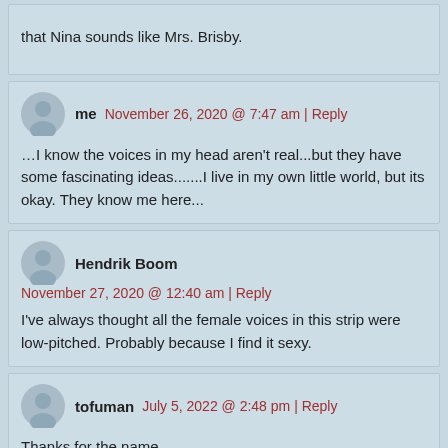that Nina sounds like Mrs. Brisby.
me  November 26, 2020 @ 7:47 am | Reply

…I know the voices in my head aren't real...but they have some fascinating ideas.......I live in my own little world, but its okay. They know me here...
Hendrik Boom  November 27, 2020 @ 12:40 am | Reply

I've always thought all the female voices in this strip were low-pitched. Probably because I find it sexy.
tofuman  July 5, 2022 @ 2:48 pm | Reply

Thanks for the name.